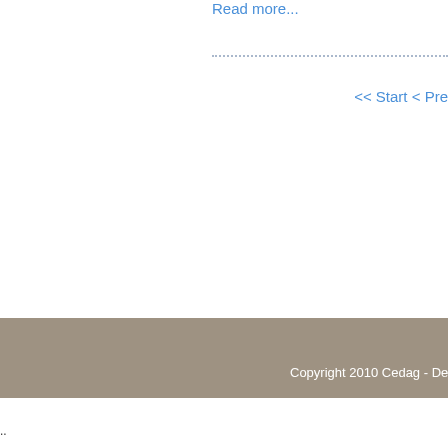Read more...
<< Start < Pre
Copyright 2010 Cedag - Develop
..